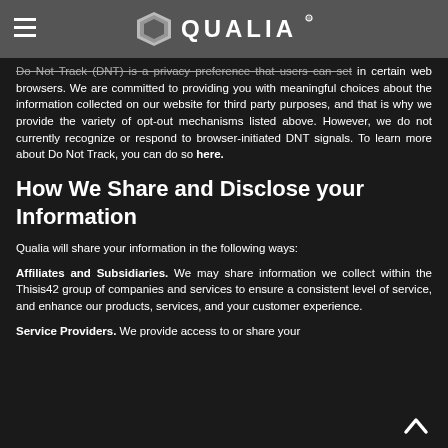QUALIA
Do Not Track (DNT) is a privacy preference that users can set in certain web browsers. We are committed to providing you with meaningful choices about the information collected on our website for third party purposes, and that is why we provide the variety of opt-out mechanisms listed above. However, we do not currently recognize or respond to browser-initiated DNT signals. To learn more about Do Not Track, you can do so here.
How We Share and Disclose your Information
Qualia will share your information in the following ways:
Affiliates and Subsidiaries. We may share information we collect within the Thisis42 group of companies and services to ensure a consistent level of service, and enhance our products, services, and your customer experience.
Service Providers. We provide access to or share your